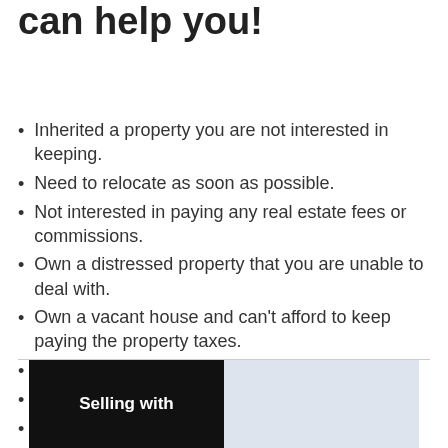can help you!
Inherited a property you are not interested in keeping.
Need to relocate as soon as possible.
Not interested in paying any real estate fees or commissions.
Own a distressed property that you are unable to deal with.
Own a vacant house and can't afford to keep paying the property taxes.
Foreclosure in Carrollton
Dealing with troublesome tenants.
Divorce.
Need a bigger or a smaller house.
Selling with